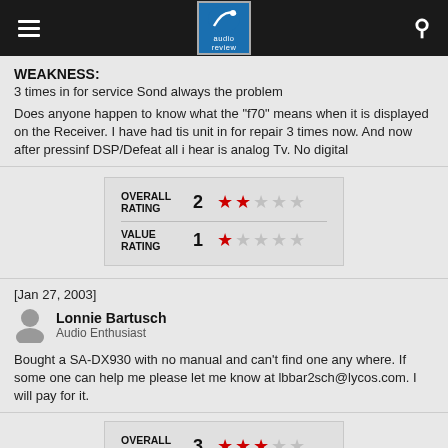audio review
WEAKNESS:
3 times in for service Sond always the problem

Does anyone happen to know what the "f70" means when it is displayed on the Receiver. I have had tis unit in for repair 3 times now. And now after pressinf DSP/Defeat all i hear is analog Tv. No digital
[Figure (infographic): Overall Rating: 2 out of 5 stars (2 filled, 3 empty). Value Rating: 1 out of 5 stars (1 filled, 4 empty).]
[Jan 27, 2003]
Lonnie Bartusch
Audio Enthusiast

Bought a SA-DX930 with no manual and can't find one any where. If some one can help me please let me know at lbbar2sch@lycos.com. I will pay for it.
[Figure (infographic): Overall Rating: 3 out of 5 stars (3 filled, 2 empty).]